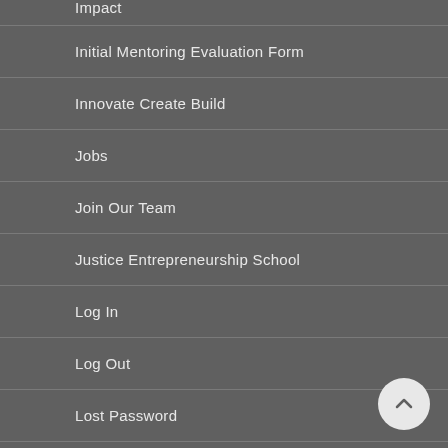Impact
Initial Mentoring Evaluation Form
Innovate Create Build
Jobs
Join Our Team
Justice Entrepreneurship School
Log In
Log Out
Lost Password
MEDIA
Mentee Feedback Form